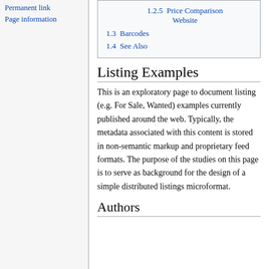Permanent link
Page information
1.2.5 Price Comparison Website
1.3 Barcodes
1.4 See Also
Listing Examples
This is an exploratory page to document listing (e.g. For Sale, Wanted) examples currently published around the web. Typically, the metadata associated with this content is stored in non-semantic markup and proprietary feed formats. The purpose of the studies on this page is to serve as background for the design of a simple distributed listings microformat.
Authors